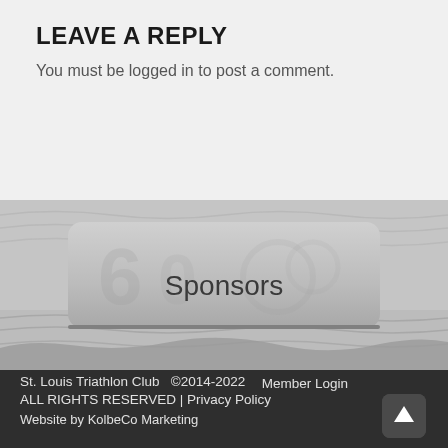LEAVE A REPLY
You must be logged in to post a comment.
[Figure (screenshot): Sponsors button with watermark logo on a water background]
St. Louis Triathlon Club  ©2014-2022    Member Login
ALL RIGHTS RESERVED | Privacy Policy
Website by KolbeCo Marketing